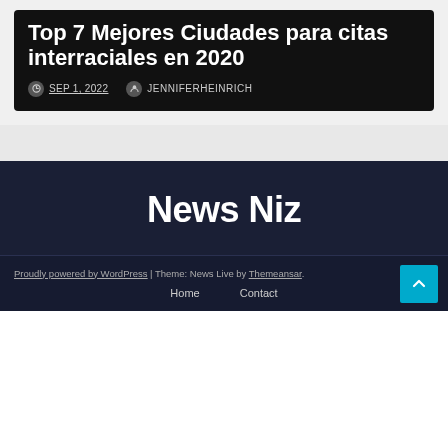Top 7 Mejores Ciudades para citas interraciales en 2020
SEP 1, 2022  JENNIFERHEINRICH
News Niz
Proudly powered by WordPress | Theme: News Live by Themeansar.
Home  Contact